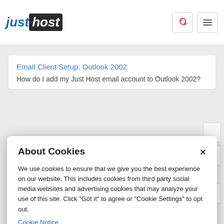[Figure (logo): JustHost logo with 'just' in blue italic and 'host' in white on dark background]
Email Client Setup: Outlook 2002
How do I add my Just Host email account to Outlook 2002?
About Cookies
We use cookies to ensure that we give you the best experience on our website. This includes cookies from third party social media websites and advertising cookies that may analyze your use of this site. Click "Got it" to agree or "Cookie Settings" to opt out.
Cookie Notice
Got It
Cookies Settings